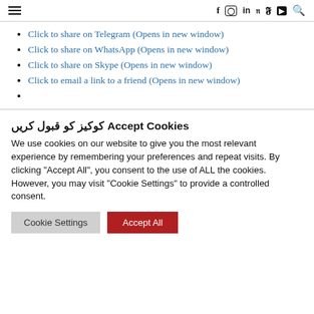menu | f instagram in pinterest twitter youtube search
Click to share on Telegram (Opens in new window)
Click to share on WhatsApp (Opens in new window)
Click to share on Skype (Opens in new window)
Click to email a link to a friend (Opens in new window)
کوکیز کو قبول کریں Accept Cookies
We use cookies on our website to give you the most relevant experience by remembering your preferences and repeat visits. By clicking "Accept All", you consent to the use of ALL the cookies. However, you may visit "Cookie Settings" to provide a controlled consent.
Cookie Settings  Accept All